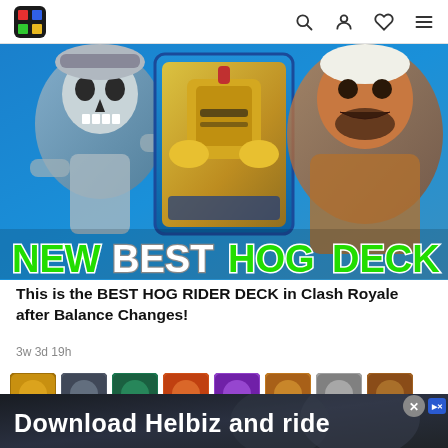Navigation bar with logo, search, profile, favorites, and menu icons
[Figure (screenshot): Game promotional image showing skeleton character on left, golden knight card in center, large warrior on right, with text 'NEW BEST HOG DECK' in green and white bold letters at the bottom]
This is the BEST HOG RIDER DECK in Clash Royale after Balance Changes!
3w 3d 19h
[Figure (illustration): Row of 8 game card thumbnails in various colors including gold, dark, teal, orange, purple, multi, gray, and brown]
[Figure (infographic): Advertisement banner with dark background showing people and text 'Download Helbiz and ride']